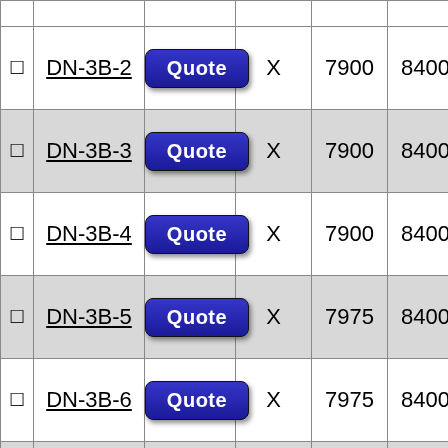|  | Name | Quote |  | Col1 | Col2 |  | Col3 | Col4 |
| --- | --- | --- | --- | --- | --- | --- | --- | --- |
| ☐ | DN-3B-2 | Quote | X | 7900 | 8400 | X | 7250 | 7750 |
| ☐ | DN-3B-3 | Quote | X | 7900 | 8400 | X | 7250 | 7750 |
| ☐ | DN-3B-4 | Quote | X | 7900 | 8400 | X | 7250 | 7750 |
| ☐ | DN-3B-5 | Quote | X | 7975 | 8400 | X | 7250 | 7675 |
| ☐ | DN-3B-6 | Quote | X | 7975 | 8400 | X | 7250 | 7675 |